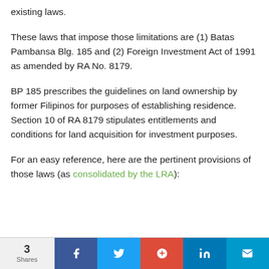existing laws.
These laws that impose those limitations are (1) Batas Pambansa Blg. 185 and (2) Foreign Investment Act of 1991 as amended by RA No. 8179.
BP 185 prescribes the guidelines on land ownership by former Filipinos for purposes of establishing residence. Section 10 of RA 8179 stipulates entitlements and conditions for land acquisition for investment purposes.
For an easy reference, here are the pertinent provisions of those laws (as consolidated by the LRA):
3 Shares | Facebook | Twitter | Google+ | LinkedIn | Mail